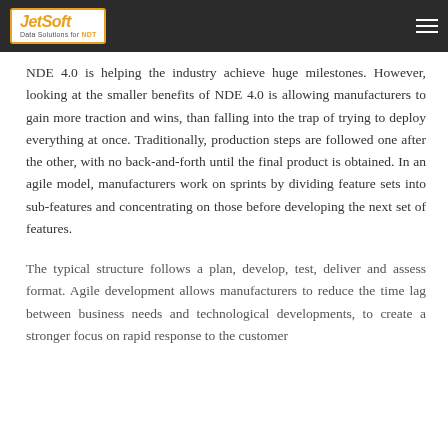JetSoft – Data Solutions for NDT
NDE 4.0 is helping the industry achieve huge milestones. However, looking at the smaller benefits of NDE 4.0 is allowing manufacturers to gain more traction and wins, than falling into the trap of trying to deploy everything at once. Traditionally, production steps are followed one after the other, with no back-and-forth until the final product is obtained. In an agile model, manufacturers work on sprints by dividing feature sets into sub-features and concentrating on those before developing the next set of features.
The typical structure follows a plan, develop, test, deliver and assess format. Agile development allows manufacturers to reduce the time lag between business needs and technological developments, to create a stronger focus on rapid response to the customer